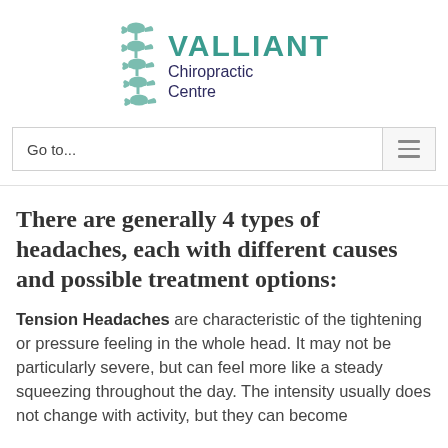[Figure (logo): Valliant Chiropractic Centre logo with teal spine graphic and two-tone text]
Go to...
There are generally 4 types of headaches, each with different causes and possible treatment options:
Tension Headaches are characteristic of the tightening or pressure feeling in the whole head. It may not be particularly severe, but can feel more like a steady squeezing throughout the day. The intensity usually does not change with activity, but they can become